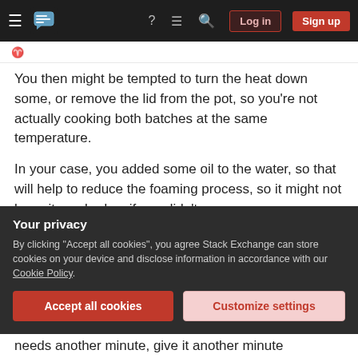Stack Exchange navigation bar with hamburger menu, logo, help, chat, search icons, Log in and Sign up buttons
You then might be tempted to turn the heat down some, or remove the lid from the pot, so you're not actually cooking both batches at the same temperature.
In your case, you added some oil to the water, so that will help to reduce the foaming process, so it might not be quite as bad as if you didn't.
If you're working solely off of the time to cook the pasta, you might need to give the second batch a
Your privacy
By clicking "Accept all cookies", you agree Stack Exchange can store cookies on your device and disclose information in accordance with our Cookie Policy.
Accept all cookies
Customize settings
needs another minute, give it another minute